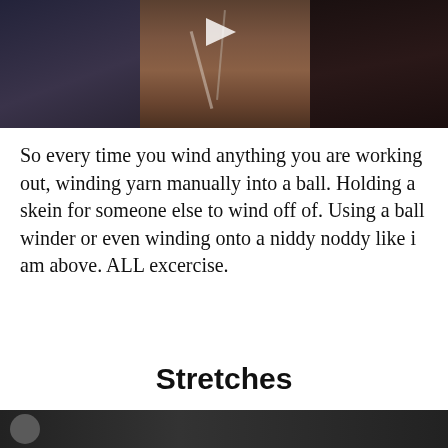[Figure (photo): Video thumbnail showing a person winding yarn onto a niddy noddy tool, with a play button overlay. Dark background with center figure.]
So every time you wind anything you are working out, winding yarn manually into a ball. Holding a skein for someone else to wind off of. Using a ball winder or even winding onto a niddy noddy like i am above. ALL excercise.
Stretches
[Figure (photo): Bottom of another video thumbnail, partially visible, showing a dark background with a circular avatar element on the left.]